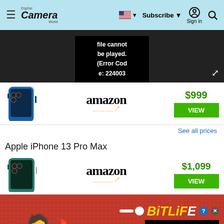Digital Camera World — Subscribe | Sign in
[Figure (screenshot): Video player error: 'file cannot be played. (Error Code: 224003)']
[Figure (photo): iPhone 13 Pro product image, Amazon retailer logo, price $999, VIEW button, See all prices link]
See all prices
Apple iPhone 13 Pro Max
[Figure (photo): iPhone 13 Pro Max product image, Amazon retailer logo, price $1,099, VIEW button]
[Figure (screenshot): BitLife advertisement banner: FAIL text, character illustration, BitLife logo, START A NEW LIFE button]